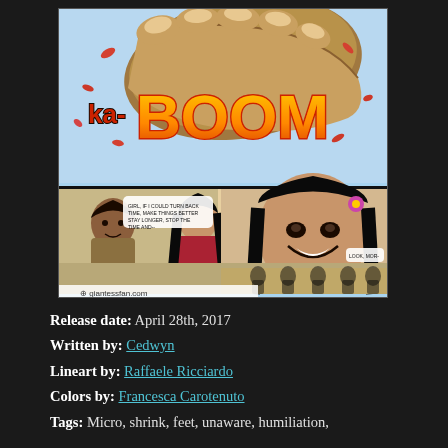[Figure (illustration): Comic book page showing a giant foot stomping with 'KA-BOOM' text effect in orange/yellow, debris flying, and lower panels showing characters including women with dark hair. Watermark reads giantessfan.com]
Release date: April 28th, 2017
Written by: Cedwyn
Lineart by: Raffaele Ricciardo
Colors by: Francesca Carotenuto
Tags: Micro, shrink, feet, unaware, humiliation,